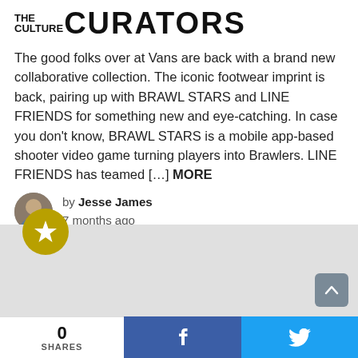[Figure (logo): The Culture Curators logo in bold uppercase letters]
The good folks over at Vans are back with a brand new collaborative collection. The iconic footwear imprint is back, pairing up with BRAWL STARS and LINE FRIENDS for something new and eye-catching. In case you don't know, BRAWL STARS is a mobile app-based shooter video game turning players into Brawlers. LINE FRIENDS has teamed [...] MORE
by Jesse James
7 months ago
READ MORE
[Figure (infographic): Gray card area with golden Brawl Stars star icon and scroll-to-top button]
0
SHARES